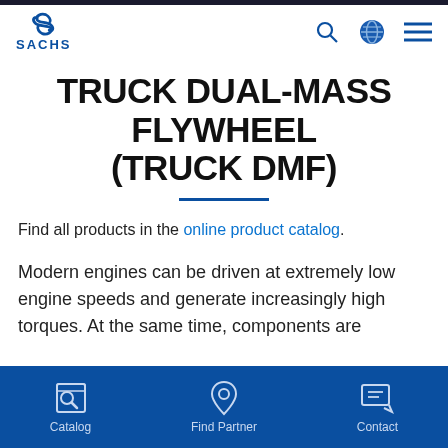[Figure (logo): SACHS brand logo with stylized S icon and SACHS text in blue]
TRUCK DUAL-MASS FLYWHEEL (TRUCK DMF)
Find all products in the online product catalog.
Modern engines can be driven at extremely low engine speeds and generate increasingly high torques. At the same time, components are
Catalog | Find Partner | Contact